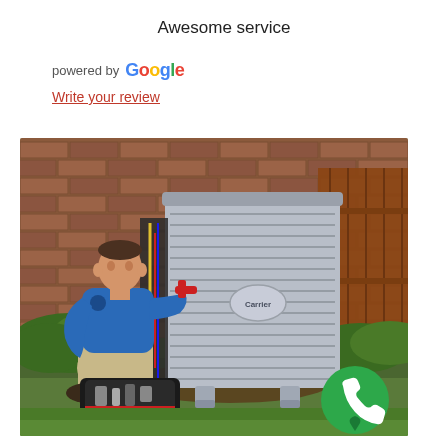Awesome service
powered by Google
Write your review
[Figure (photo): HVAC technician in blue shirt crouching beside a Carrier air conditioning unit next to a brick wall and wooden fence, with a tool bag on the ground. A green phone/location badge is overlaid in the bottom-right corner.]